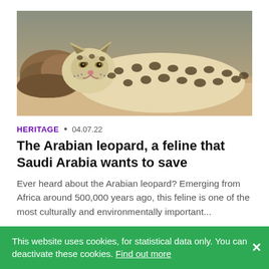[Figure (photo): Close-up photograph of an Arabian leopard lying down, showing its spotted coat and face near a rock]
HERITAGE • 04.07.22
The Arabian leopard, a feline that Saudi Arabia wants to save
Ever heard about the Arabian leopard? Emerging from Africa around 500,000 years ago, this feline is one of the most culturally and environmentally important...
← 1 2 4 →
This website uses cookies, for statistical data only. You can deactivate these cookies. Find out more